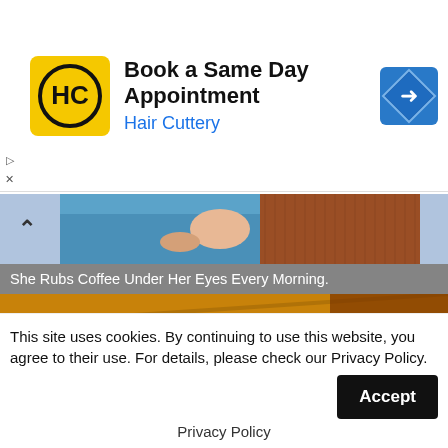[Figure (other): Hair Cuttery advertisement banner: HC logo on yellow background, text 'Book a Same Day Appointment' and 'Hair Cuttery' in blue, navigation arrow icon on right]
[Figure (photo): Thumbnail strip showing person in blue shirt, hands visible, and brown texture on right side, with caret/up-arrow on left]
She Rubs Coffee Under Her Eyes Every Morning.
[Figure (photo): Close-up photo of two US dimes (one showing 'United States of America / One Dime' reverse, one showing obverse) on a wooden surface with orange/golden tones]
This site uses cookies. By continuing to use this website, you agree to their use. For details, please check our Privacy Policy.
Privacy Policy